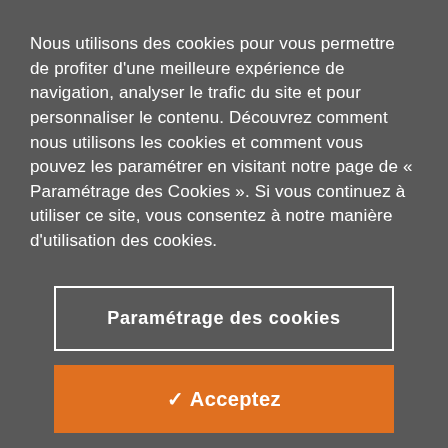Nous utilisons des cookies pour vous permettre de profiter d'une meilleure expérience de navigation, analyser le trafic du site et pour personnaliser le contenu. Découvrez comment nous utilisons les cookies et comment vous pouvez les paramétrer en visitant notre page de « Paramétrage des Cookies ». Si vous continuez à utiliser ce site, vous consentez à notre manière d'utilisation des cookies.
Paramétrage des cookies
✓ Acceptez
one day, but every day. This is how we can build up a much better picture of the reality and we can ultimately make better investment decisions.'
'Another important development is Responsible Investment, in which an attractive financial return and a